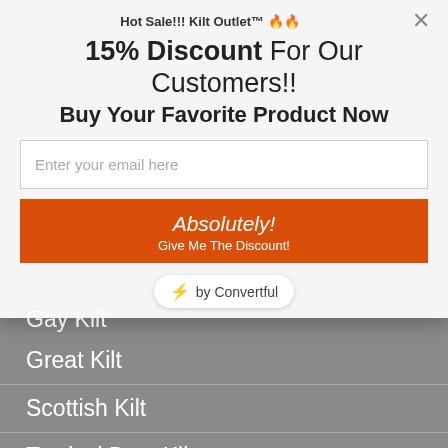Hot Sale!!! Kilt Outlet™ 🔥🔥
15% Discount For Our Customers!!
Buy Your Favorite Product Now
Enter your email here
Absolutely! Give Me The Discount!
⚡ by Convertful
Gay Kilt
Great Kilt
Scottish Kilt
Tactical Duty Kilt
Kilts For Sale
DISCOUNT COUPON / UPDATES